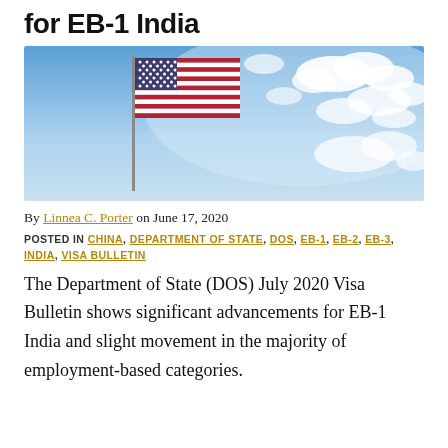for EB-1 India
[Figure (photo): American flag waving against a blue sky with clouds]
By Linnea C. Porter on June 17, 2020
POSTED IN CHINA, DEPARTMENT OF STATE, DOS, EB-1, EB-2, EB-3, INDIA, VISA BULLETIN
The Department of State (DOS) July 2020 Visa Bulletin shows significant advancements for EB-1 India and slight movement in the majority of employment-based categories.